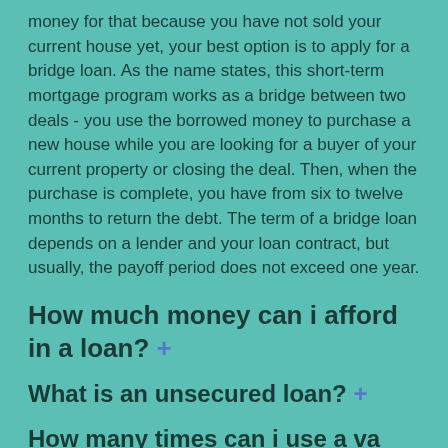money for that because you have not sold your current house yet, your best option is to apply for a bridge loan. As the name states, this short-term mortgage program works as a bridge between two deals - you use the borrowed money to purchase a new house while you are looking for a buyer of your current property or closing the deal. Then, when the purchase is complete, you have from six to twelve months to return the debt. The term of a bridge loan depends on a lender and your loan contract, but usually, the payoff period does not exceed one year.
How much money can i afford in a loan? +
What is an unsecured loan? +
How many times can i use a va loan? +
What do i need to get a loan? +